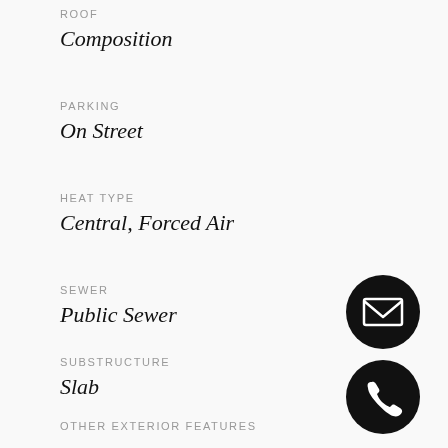ROOF
Composition
PARKING
On Street
HEAT TYPE
Central, Forced Air
SEWER
Public Sewer
SUBSTRUCTURE
Slab
OTHER EXTERIOR FEATURES
Fence
[Figure (illustration): Black circle with white envelope icon (email contact button)]
[Figure (illustration): Black circle with white phone icon (call contact button)]